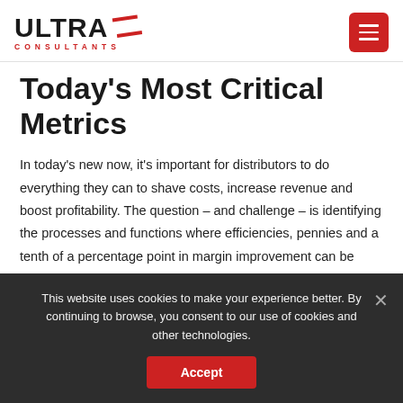ULTRA CONSULTANTS [logo + menu button]
Today's Most Critical Metrics
In today's new now, it's important for distributors to do everything they can to shave costs, increase revenue and boost profitability. The question – and challenge – is identifying the processes and functions where efficiencies, pennies and a tenth of a percentage point in margin improvement can be found. The right metrics will
This website uses cookies to make your experience better. By continuing to browse, you consent to our use of cookies and other technologies.